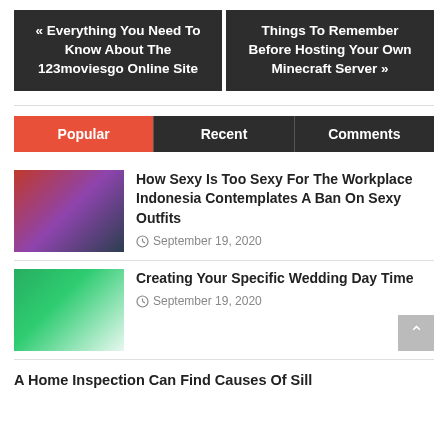« Everything You Need To Know About The 123moviesgo Online Site
Things To Remember Before Hosting Your Own Minecraft Server »
Popular
Recent
Comments
How Sexy Is Too Sexy For The Workplace Indonesia Contemplates A Ban On Sexy Outfits
September 19, 2020
Creating Your Specific Wedding Day Time
September 19, 2020
A Home Inspection Can Find Causes Of Sill